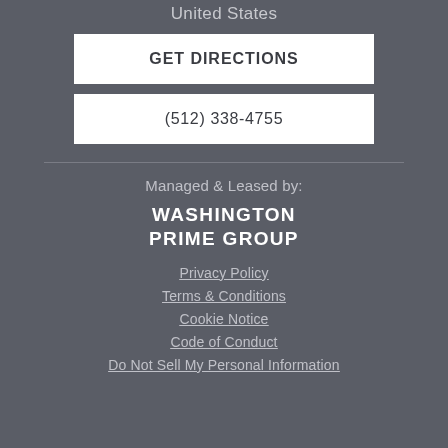United States
GET DIRECTIONS
(512) 338-4755
Managed & Leased by:
WASHINGTON PRIME GROUP
Privacy Policy
Terms & Conditions
Cookie Notice
Code of Conduct
Do Not Sell My Personal Information